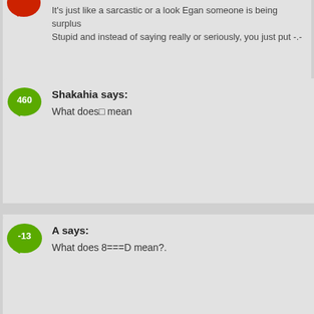It's just like a sarcastic or a look Egan someone is being surplus Stupid and instead of saying really or seriously, you just put -.-
Shakahia says: What does mean
A says: What does 8===D mean?.